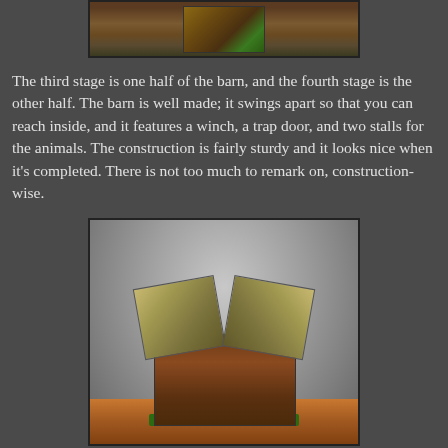[Figure (photo): Partial view of a LEGO barn set piece from above, showing a small LEGO structure with green base on a wooden surface]
The third stage is one half of the barn, and the fourth stage is the other half. The barn is well made; it swings apart so that you can reach inside, and it features a winch, a trap door, and two stalls for the animals. The construction is fairly sturdy and it looks nice when it's completed. There is not too much to remark on, construction-wise.
[Figure (photo): A completed LEGO barn model with open roof panels showing interior, brown walls, green base plate, sitting on a wooden table surface against a grey background]